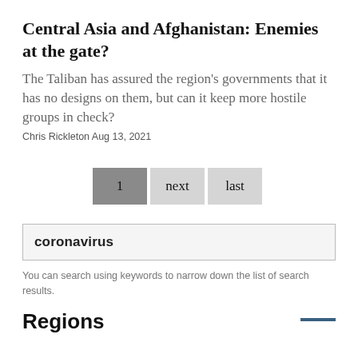Central Asia and Afghanistan: Enemies at the gate?
The Taliban has assured the region's governments that it has no designs on them, but can it keep more hostile groups in check?
Chris Rickleton Aug 13, 2021
1  next  last
coronavirus
You can search using keywords to narrow down the list of search results.
Regions